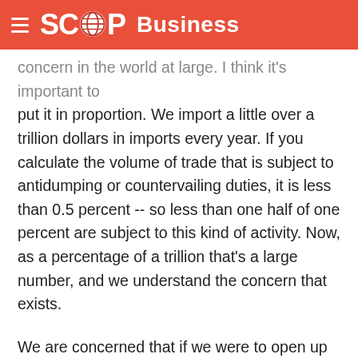SCOOP Business
concern in the world at large. I think it's important to put it in proportion. We import a little over a trillion dollars in imports every year. If you calculate the volume of trade that is subject to antidumping or countervailing duties, it is less than 0.5 percent -- so less than one half of one percent are subject to this kind of activity. Now, as a percentage of a trillion that's a large number, and we understand the concern that exists.
We are concerned that if we were to open up and try to renegotiate the rules that govern antidumping that actually the system that might be ended up with will be even more difficult for developing countries in